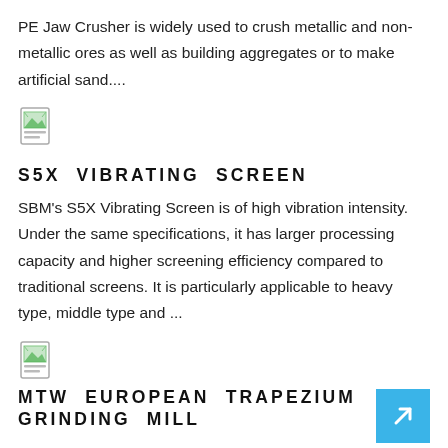PE Jaw Crusher is widely used to crush metallic and non-metallic ores as well as building aggregates or to make artificial sand....
[Figure (illustration): Small document/image thumbnail icon]
S5X VIBRATING SCREEN
SBM's S5X Vibrating Screen is of high vibration intensity. Under the same specifications, it has larger processing capacity and higher screening efficiency compared to traditional screens. It is particularly applicable to heavy type, middle type and ...
[Figure (illustration): Small document/image thumbnail icon]
MTW EUROPEAN TRAPEZIUM GRINDING MILL
MTW European Grinding Mill is innovatively designed